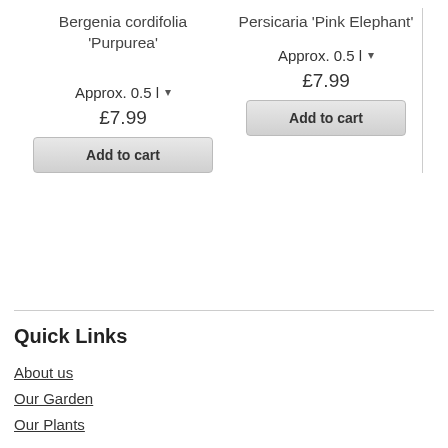Bergenia cordifolia 'Purpurea'
Persicaria 'Pink Elephant'
Approx. 0.5 l
£7.99
Add to cart
Approx. 0.5 l
£7.99
Add to cart
Quick Links
About us
Our Garden
Our Plants